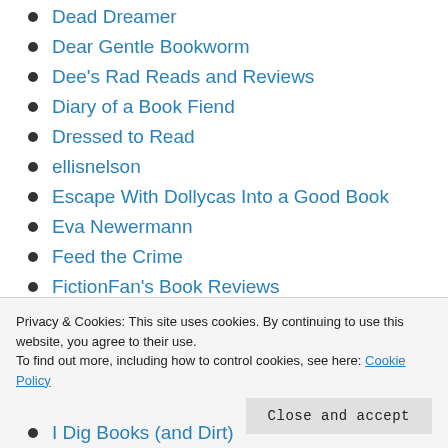Dead Dreamer
Dear Gentle Bookworm
Dee's Rad Reads and Reviews
Diary of a Book Fiend
Dressed to Read
ellisnelson
Escape With Dollycas Into a Good Book
Eva Newermann
Feed the Crime
FictionFan's Book Reviews
Fiction... (partially visible)
Privacy & Cookies: This site uses cookies. By continuing to use this website, you agree to their use.
To find out more, including how to control cookies, see here: Cookie Policy
I Dig Books (and Dirt)